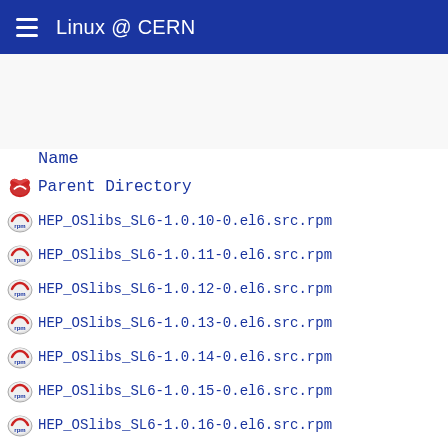Linux @ CERN
Name
Parent Directory
HEP_OSlibs_SL6-1.0.10-0.el6.src.rpm
HEP_OSlibs_SL6-1.0.11-0.el6.src.rpm
HEP_OSlibs_SL6-1.0.12-0.el6.src.rpm
HEP_OSlibs_SL6-1.0.13-0.el6.src.rpm
HEP_OSlibs_SL6-1.0.14-0.el6.src.rpm
HEP_OSlibs_SL6-1.0.15-0.el6.src.rpm
HEP_OSlibs_SL6-1.0.16-0.el6.src.rpm
HEP_OSlibs_SL6-1.0.17-0.el6.src.rpm
HEP_OSlibs_SL6-1.0.18-0.el6.src.rpm
HEP_OSlibs_SL6-1.0.19-0.el6.src.rpm